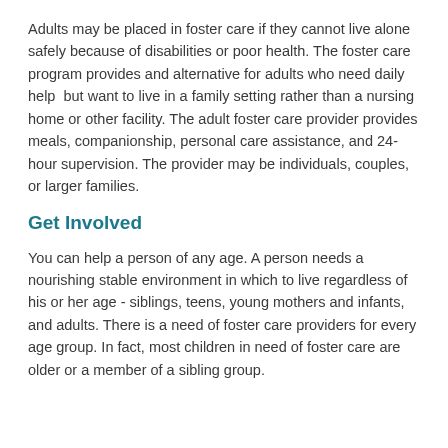Adults may be placed in foster care if they cannot live alone safely because of disabilities or poor health. The foster care program provides and alternative for adults who need daily help but want to live in a family setting rather than a nursing home or other facility. The adult foster care provider provides meals, companionship, personal care assistance, and 24-hour supervision. The provider may be individuals, couples, or larger families.
Get Involved
You can help a person of any age. A person needs a nourishing stable environment in which to live regardless of his or her age - siblings, teens, young mothers and infants, and adults. There is a need of foster care providers for every age group. In fact, most children in need of foster care are older or a member of a sibling group.